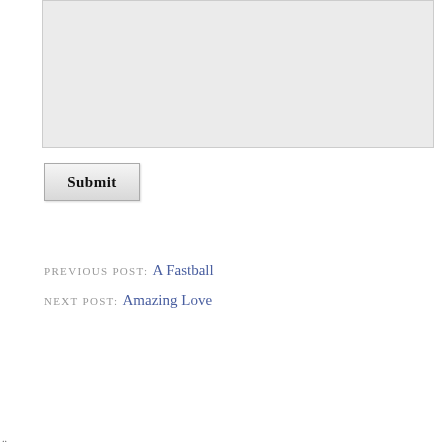[Figure (screenshot): A light gray textarea input box, empty, used for comment or text submission.]
Submit
PREVIOUS POST: A Fastball
NEXT POST: Amazing Love